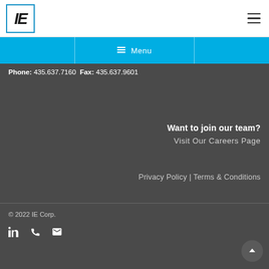[Figure (logo): IE Corp logo — bold italic 'IE' text inside a blue-bordered box]
Menu (navigation bar)
Phone: 435.637.7160  Fax: 435.637.9601
Want to join our team?
Visit Our Careers Page
Privacy Policy | Terms & Conditions
© 2022 IE Corp.